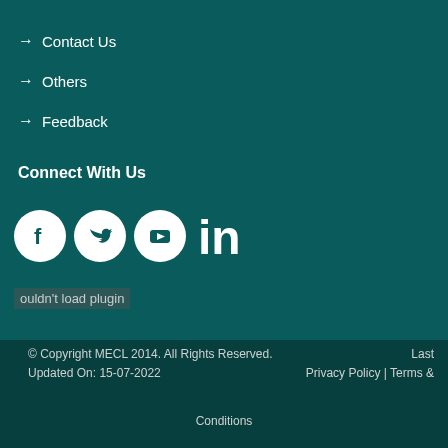→ Contact Us
→ Others
→ Feedback
Connect With Us
[Figure (infographic): Social media icons: Facebook, Twitter, YouTube, LinkedIn]
ouldn't load plugin
© Copyright MECL 2014. All Rights Reserved.  Last Updated On: 15-07-2022  Privacy Policy | Terms & Conditions